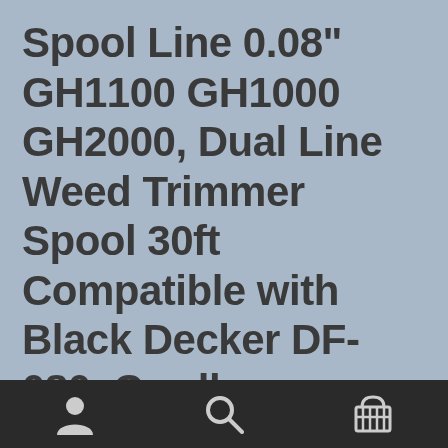Spool Line 0.08" GH1100 GH1000 GH2000, Dual Line Weed Trimmer Spool 30ft Compatible with Black Decker DF-080, Cordless Trimmer Edger Replacement/5...
[Figure (other): Mobile app bottom navigation bar with three icons: user/account icon (left), search/magnifying glass icon (center), shopping cart/basket icon (right)]